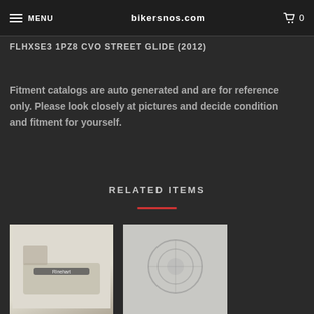MENU | bikersnos.com | 0
FLHXSE3 1PZ8 CVO STREET GLIDE (2012)
Fitment catalogs are auto generated and are for reference only. Please look closely at pictures and decide condition and fitment for yourself.
RELATED ITEMS
[Figure (photo): Product image left - dark object on tan background]
[Figure (photo): Product image right - item on gray background]